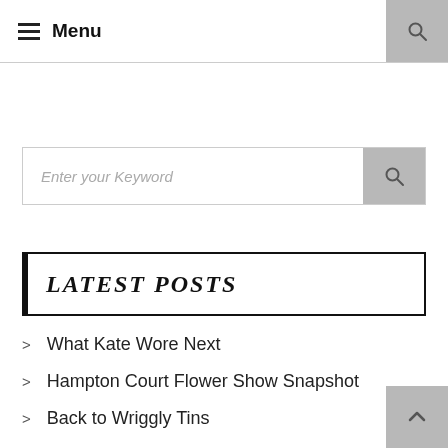≡ Menu
Enter your Keyword
LATEST POSTS
What Kate Wore Next
Hampton Court Flower Show Snapshot
Back to Wriggly Tins
Daily Look No.38